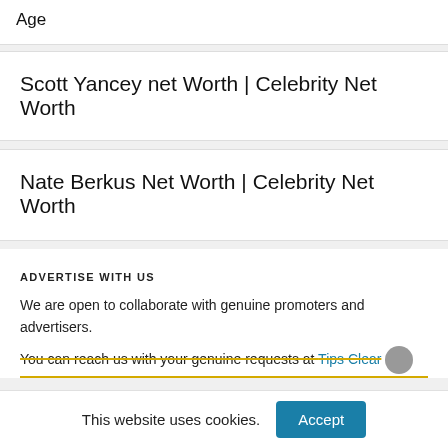Age
Scott Yancey net Worth | Celebrity Net Worth
Nate Berkus Net Worth | Celebrity Net Worth
ADVERTISE WITH US
We are open to collaborate with genuine promoters and advertisers.
You can reach us with your genuine requests at Tips Clear
This website uses cookies.